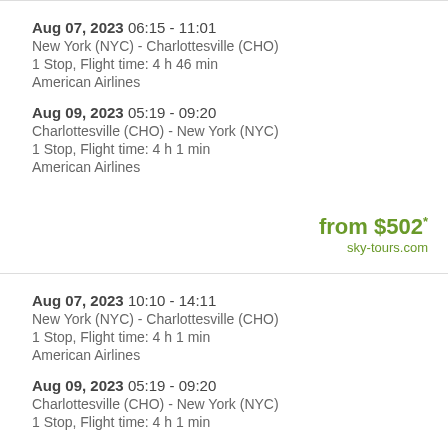Aug 07, 2023 06:15 - 11:01
New York (NYC) - Charlottesville (CHO)
1 Stop, Flight time: 4 h 46 min
American Airlines
Aug 09, 2023 05:19 - 09:20
Charlottesville (CHO) - New York (NYC)
1 Stop, Flight time: 4 h 1 min
American Airlines
from $502*
sky-tours.com
Aug 07, 2023 10:10 - 14:11
New York (NYC) - Charlottesville (CHO)
1 Stop, Flight time: 4 h 1 min
American Airlines
Aug 09, 2023 05:19 - 09:20
Charlottesville (CHO) - New York (NYC)
1 Stop, Flight time: 4 h 1 min